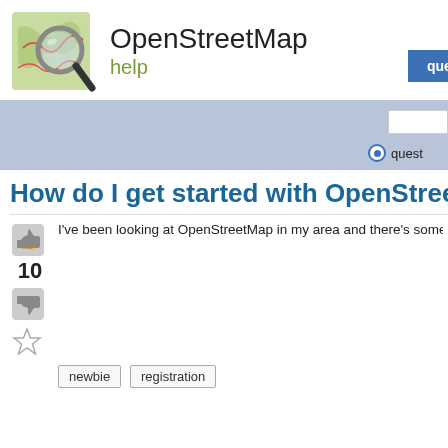[Figure (logo): OpenStreetMap logo with magnifying glass over a green map]
OpenStreetMap help
questions | tags | use
How do I get started with OpenStreetMap?
I've been looking at OpenStreetMap in my area and there's some stuff m
10
newbie
registration